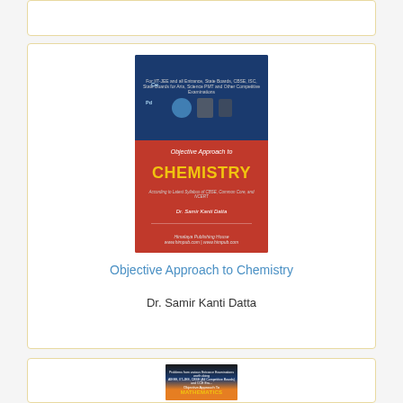[Figure (photo): Top white card/panel (partial, clipped at top of view)]
[Figure (photo): Book cover of 'Objective Approach to Chemistry' by Dr. Samir Kanti Datta, published by Himalaya Publishing House. Cover features blue and red design with chemical elements Cu and Pd visible.]
Objective Approach to Chemistry
Dr. Samir Kanti Datta
[Figure (photo): Book cover of 'Objective Approach to Mathematics' — partially visible at bottom of page, showing dark background with yellow/orange title text.]